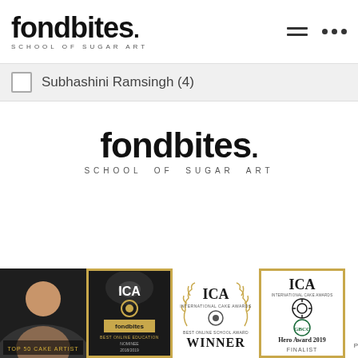fondbites SCHOOL OF SUGAR ART
Subhashini Ramsingh (4)
[Figure (logo): fondbites SCHOOL OF SUGAR ART center logo]
[Figure (photo): Award badges strip: person photo with TOP 50 CAKE ARTIST label, ICA Best Online Education fondbites award (black & gold), ICA WINNER badge, ICA Hero Award 2019 Finalist badge, and partial reCAPTCHA Privacy Terms widget]